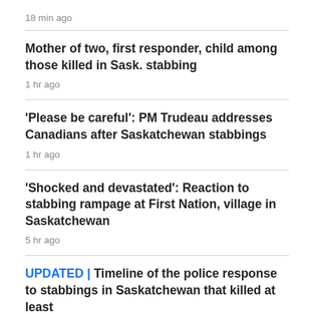18 min ago
Mother of two, first responder, child among those killed in Sask. stabbing
1 hr ago
'Please be careful': PM Trudeau addresses Canadians after Saskatchewan stabbings
1 hr ago
'Shocked and devastated': Reaction to stabbing rampage at First Nation, village in Saskatchewan
5 hr ago
UPDATED | Timeline of the police response to stabbings in Saskatchewan that killed at least